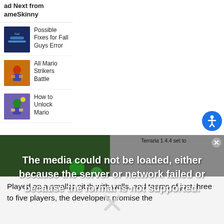ad Next from GameSkinny
Possible Fixes for Fall Guys Error
All Mario Strikers Battle
How to Unlock Mario
[Figure (screenshot): Video player showing a Terraria game scene with media error overlay: 'The media could not be loaded, either because the server or network failed or because the format is not supported.' Caption in top right: 'Terraria 1.4.4 set to']
Terraria 1.4.4 set to
Played on a smaller pitch with walls, and teams of just three to five players, the developers promise the